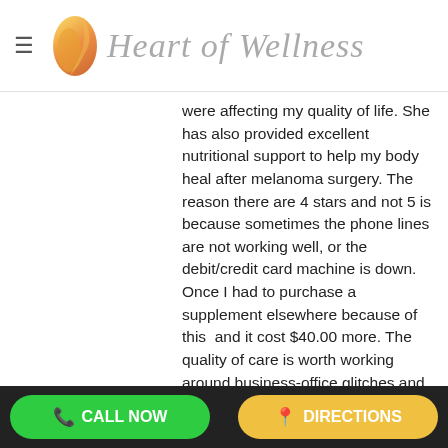Heart of Wellness
were affecting my quality of life. She has also provided excellent nutritional support to help my body heal after melanoma surgery. The reason there are 4 stars and not 5 is because sometimes the phone lines are not working well, or the debit/credit card machine is down. Once I had to purchase a supplement elsewhere because of this  and it cost $40.00 more. The quality of care is worth working around business-office glitches and I'm sure H. of Wellness is working on this. I hope so because some of these issues can be very frustrating and inconvenient to deal with.
K Konrad
4 years ago
[Figure (other): 4 out of 5 star rating with orange filled stars and one empty star]
Love the doctors. Had a poorly timed incident which needed care quickly, back and front office staff
CALL NOW   DIRECTIONS